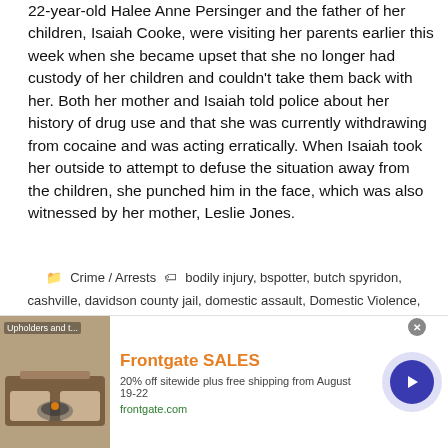22-year-old Halee Anne Persinger and the father of her children, Isaiah Cooke, were visiting her parents earlier this week when she became upset that she no longer had custody of her children and couldn't take them back with her. Both her mother and Isaiah told police about her history of drug use and that she was currently withdrawing from cocaine and was acting erratically. When Isaiah took her outside to attempt to defuse the situation away from the children, she punched him in the face, which was also witnessed by her mother, Leslie Jones.
Crime / Arrests   bodily injury, bspotter, butch spyridon, cashville, davidson county jail, domestic assault, Domestic Violence, downtown nashville, East Nashville, ginger, Halee Persinger, Hidden Hill Drive, Isaiah Cooke, JOSHUA ZAMBRANO-VERA, Leslie Jones, love hurts, Metro Nashville Police, MNPD, MNPD Nashville, music city, music city arrests, Music City Mugshots, Nashville, Nashville
[Figure (screenshot): Advertisement banner for Frontgate SALES: 20% off sitewide plus free shipping from August 19-22. Image shows outdoor furniture with a fire pit. frontgate.com]